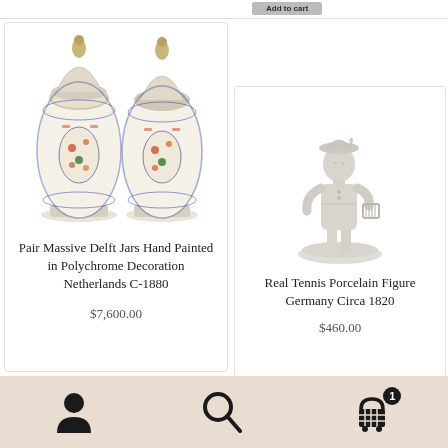[Figure (photo): A pair of massive Delft jars hand painted in polychrome floral decoration, with lids topped by figurines]
Pair Massive Delft Jars Hand Painted in Polychrome Decoration Netherlands C-1880
$7,600.00
[Figure (photo): A white porcelain figurine of a boy in tennis attire, Germany circa 1820]
Real Tennis Porcelain Figure Germany Circa 1820
$460.00